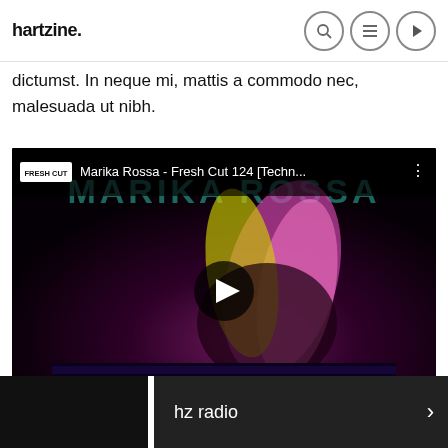hartzine.
dictumst. In neque mi, mattis a commodo nec, malesuada ut nibh.
[Figure (screenshot): Embedded YouTube video thumbnail showing DJ Marika Rossa performing, with pink and yellow hair, bending over turntables. Video title: 'Marika Rossa - Fresh Cut 124 [Techn...' with FRESH OUT badge. Teal watermark text 'MARIKA ROSSA' behind. Play button overlay in center.]
hz radio